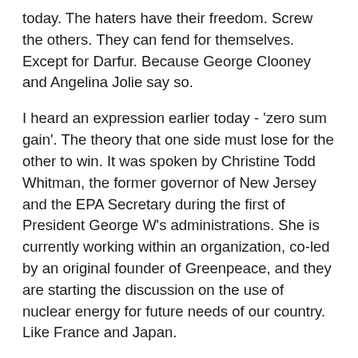today. The haters have their freedom. Screw the others. They can fend for themselves. Except for Darfur. Because George Clooney and Angelina Jolie say so.
I heard an expression earlier today - 'zero sum gain'. The theory that one side must lose for the other to win. It was spoken by Christine Todd Whitman, the former governor of New Jersey and the EPA Secretary during the first of President George W's administrations. She is currently working within an organization, co-led by an original founder of Greenpeace, and they are starting the discussion on the use of nuclear energy for future needs of our country. Like France and Japan.
The subject of the current consensus of the G8 nations on agreements concerning global warming was a topic discussed with her. She spoke of the wisdom of the Senate vote during Clinton's administration as they voted unanimously to take a pass on the Kyoto agreement. The European countries that took it on are all failing to meet the requirements and deadlines, as was predicted. Plus the new agreements will now include standards for China and India